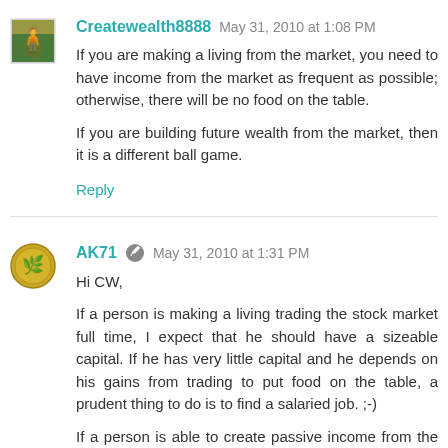Createwealth8888  May 31, 2010 at 1:08 PM
If you are making a living from the market, you need to have income from the market as frequent as possible; otherwise, there will be no food on the table.
If you are building future wealth from the market, then it is a different ball game.
Reply
AK71  May 31, 2010 at 1:31 PM
Hi CW,
If a person is making a living trading the stock market full time, I expect that he should have a sizeable capital. If he has very little capital and he depends on his gains from trading to put food on the table, a prudent thing to do is to find a salaried job. ;-)
If a person is able to create passive income from the stock